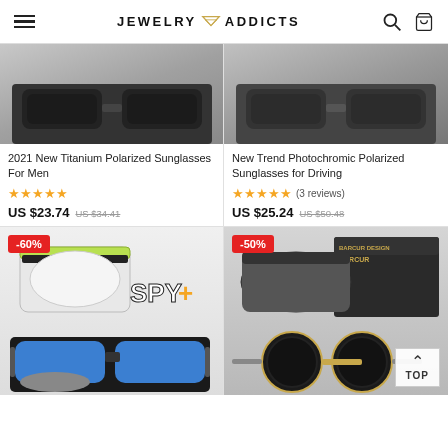JEWELRY ADDICTS
2021 New Titanium Polarized Sunglasses For Men
★★★★★
US $23.74  US $34.41
New Trend Photochromic Polarized Sunglasses for Driving
★★★★★ (3 reviews)
US $25.24  US $50.48
[Figure (photo): Spy+ sunglasses product photo with green/black case and blue mirrored lenses, -60% discount badge]
[Figure (photo): Barcur Design round sunglasses with gold/black frames and black case, -50% discount badge]